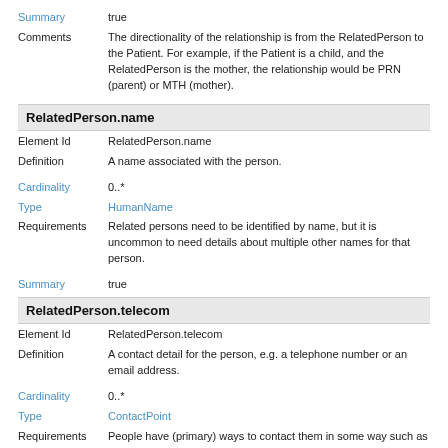Summary   true
Comments   The directionality of the relationship is from the RelatedPerson to the Patient. For example, if the Patient is a child, and the RelatedPerson is the mother, the relationship would be PRN (parent) or MTH (mother).
RelatedPerson.name
Element Id   RelatedPerson.name
Definition   A name associated with the person.
Cardinality   0..*
Type   HumanName
Requirements   Related persons need to be identified by name, but it is uncommon to need details about multiple other names for that person.
Summary   true
RelatedPerson.telecom
Element Id   RelatedPerson.telecom
Definition   A contact detail for the person, e.g. a telephone number or an email address.
Cardinality   0..*
Type   ContactPoint
Requirements   People have (primary) ways to contact them in some way such as phone, email.